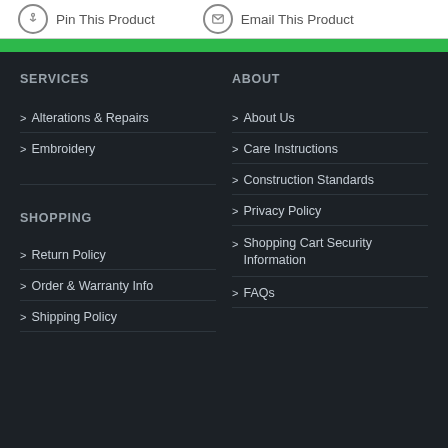Pin This Product   Email This Product
SERVICES
Alterations & Repairs
Embroidery
SHOPPING
Return Policy
Order & Warranty Info
Shipping Policy
ABOUT
About Us
Care Instructions
Construction Standards
Privacy Policy
Shopping Cart Security Information
FAQs